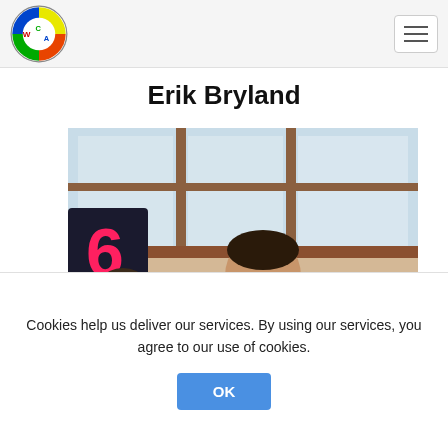WCA — Erik Bryland
Erik Bryland
[Figure (photo): Photo of a young boy smiling at a speedcubing competition. He is wearing a white t-shirt with a Rubik's cube event logo. A red digital timer showing '6' is visible on the left. Large windows with a view outside are in the background.]
Cookies help us deliver our services. By using our services, you agree to our use of cookies.
OK